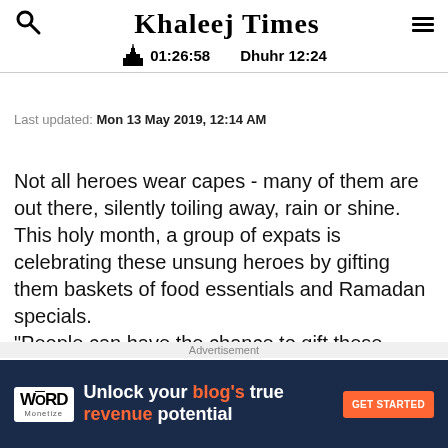Khaleej Times | 01:26:58 | Dhuhr 12:24
Last updated: Mon 13 May 2019, 12:14 AM
Not all heroes wear capes - many of them are out there, silently toiling away, rain or shine. This holy month, a group of expats is celebrating these unsung heroes by gifting them baskets of food essentials and Ramadan specials. "People can have the chance to gift these baskets to workers and we will deliver them to various labour camps, at the original cost and without extra charges," said Rohit Sharma,
[Figure (infographic): Advertisement banner for Word Monetize: 'Unlock your blog's true revenue potential' with GET STARTED button]